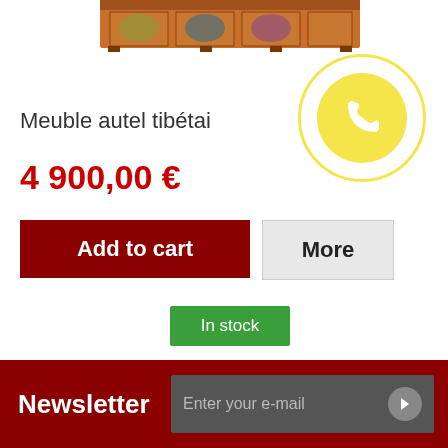[Figure (photo): Partial bottom view of a Tibetan altar furniture piece (meuble autel tibétain), cropped at top]
[Figure (illustration): Yellow phone icon inside a yellow circle, surrounded by a larger white circle with yellow border]
Meuble autel tibétai
4 900,00 €
Add to cart
More
In stock
Showing 1 - 3 of 3 items
Newsletter
Enter your e-mail